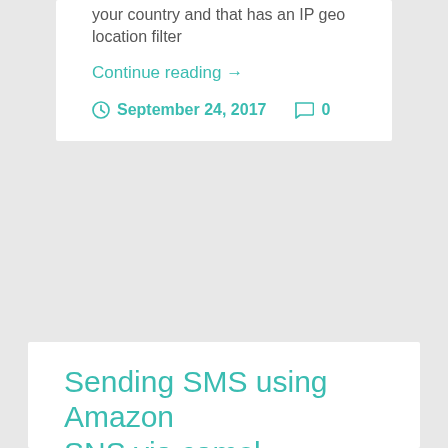your country and that has an IP geo location filter
Continue reading →
September 24, 2017   0
Sending SMS using Amazon SNS via camel
[Figure (logo): Amazon Web Services logo with SNS label in orange]